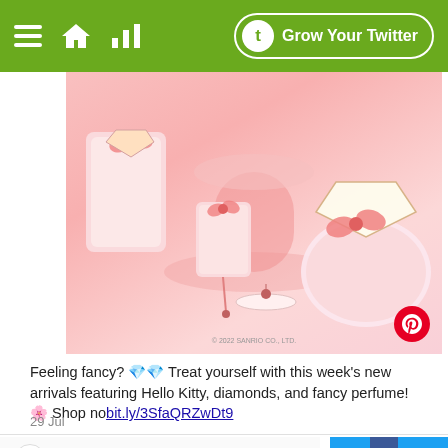Grow Your Twitter
[Figure (photo): Pink Hello Kitty themed products including perfume bottles with diamond decorations and bows on a pink background. Copyright © 2022 SANRIO CO., LTD.]
Feeling fancy? 💎💎 Treat yourself with this week's new arrivals featuring Hello Kitty, diamonds, and fancy perfume! 🌸 Shop nobit.ly/3SfaQRZwDt9
29 Jul
Hello Kitty @hellokitty